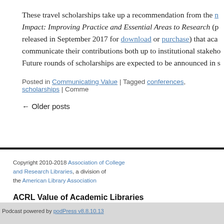These travel scholarships take up a recommendation from the n... Impact: Improving Practice and Essential Areas to Research (p... released in September 2017 for download or purchase) that aca... communicate their contributions both up to institutional stakeho... Future rounds of scholarships are expected to be announced in s...
Posted in Communicating Value | Tagged conferences, scholarships | Comme...
← Older posts
Copyright 2010-2018 Association of College and Research Libraries, a division of the American Library Association
ACRL Value of Academic Libraries
Podcast powered by podPress v8.8.10.13